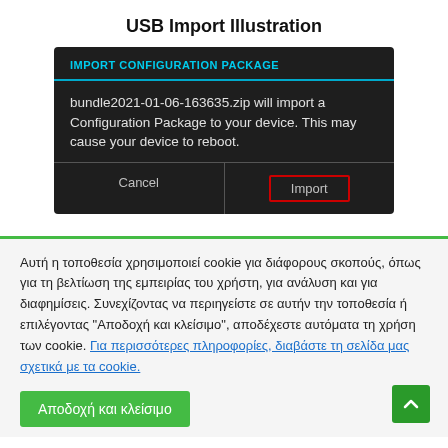USB Import Illustration
[Figure (screenshot): Android dialog box with dark background showing 'IMPORT CONFIGURATION PACKAGE' header in cyan text, body text reading 'bundle2021-01-06-163635.zip will import a Configuration Package to your device. This may cause your device to reboot.' with Cancel and Import buttons at bottom, Import button highlighted with red rectangle border.]
Αυτή η τοποθεσία χρησιμοποιεί cookie για διάφορους σκοπούς, όπως για τη βελτίωση της εμπειρίας του χρήστη, για ανάλυση και για διαφημίσεις. Συνεχίζοντας να περιηγείστε σε αυτήν την τοποθεσία ή επιλέγοντας "Αποδοχή και κλείσιμο", αποδέχεστε αυτόματα τη χρήση των cookie. Για περισσότερες πληροφορίες, διαβάστε τη σελίδα μας σχετικά με τα cookie.
Αποδοχή και κλείσιμο